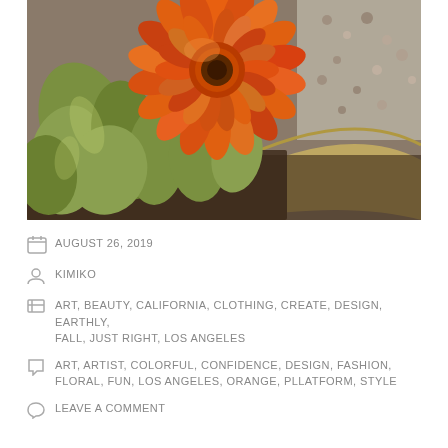[Figure (photo): Close-up photograph of a bright orange zinnia flower with green leaves in a planter pot. Gravel and a terracotta pot rim visible in the background. Outdoor garden setting.]
AUGUST 26, 2019
KIMIKO
ART, BEAUTY, CALIFORNIA, CLOTHING, CREATE, DESIGN, EARTHLY, FALL, JUST RIGHT, LOS ANGELES
ART, ARTIST, COLORFUL, CONFIDENCE, DESIGN, FASHION, FLORAL, FUN, LOS ANGELES, ORANGE, PLLATFORM, STYLE
LEAVE A COMMENT